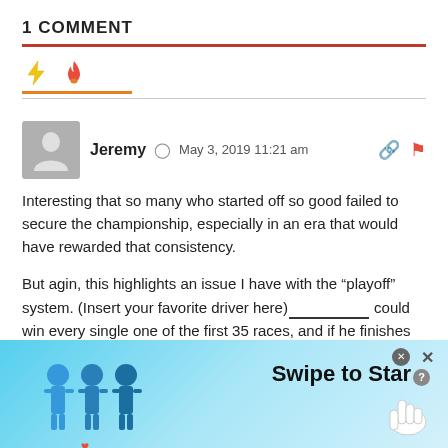1 COMMENT
[Figure (infographic): Two social login/reaction icons: a yellow lightning bolt and an orange fire/flame icon, used as comment voting or sorting buttons]
Jeremy  May 3, 2019 11:21 am
Interesting that so many who started off so good failed to secure the championship, especially in an era that would have rewarded that consistency.
But agin, this highlights an issue I have with the “playoff” system. (Insert your favorite driver here)_________ could win every single one of the first 35 races, and if he finishes second in the final
[Figure (infographic): Advertisement banner with cartoon figures and 'Swipe to Star' text on a light blue background]